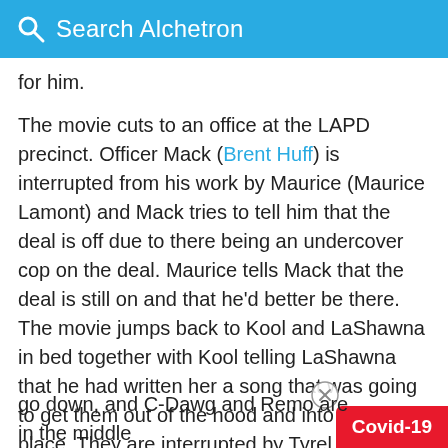Search Alchetron
for him.
The movie cuts to an office at the LAPD precinct. Officer Mack (Brent Huff) is interrupted from his work by Maurice (Maurice Lamont) and Mack tries to tell him that the deal is off due to there being an undercover cop on the deal. Maurice tells Mack that the deal is still on and that he'd better be there. The movie jumps back to Kool and LaShawna in bed together with Kool telling LaShawna that he had written her a song that was going to get them out of the hood and into a better place. They are interrupted by Tyrel knocking on the door telling Kool to hurry up because something big is about to go down, and C-Dawg and Remo are in the middle